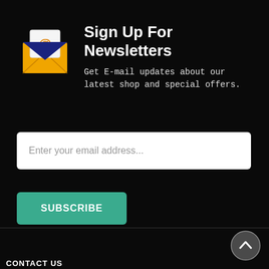[Figure (illustration): Email envelope icon with @ symbol on a paper, yellow envelope with dark blue flap]
Sign Up For Newsletters
Get E-mail updates about our latest shop and special offers.
Enter your email address...
SUBSCRIBE
[Figure (illustration): Circular back-to-top arrow button, dark gray circle with white chevron pointing up]